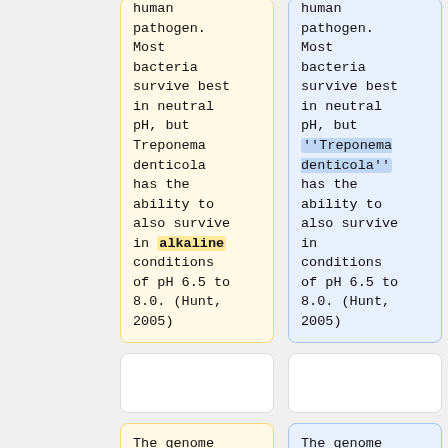human pathogen. Most bacteria survive best in neutral pH, but Treponema denticola has the ability to also survive in alkaline conditions of pH 6.5 to 8.0. (Hunt, 2005)
human pathogen. Most bacteria survive best in neutral pH, but ''Treponema denticola'' has the ability to also survive in conditions of pH 6.5 to 8.0. (Hunt, 2005)
The genome of T. denticola
The genome of ''T. denticola''